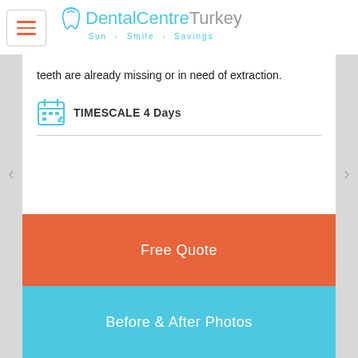[Figure (logo): Dental Centre Turkey logo with tooth icon and tagline Sun - Smile - Savings]
teeth are already missing or in need of extraction.
TIMESCALE 4 Days
Free Quote
Before & After Photos